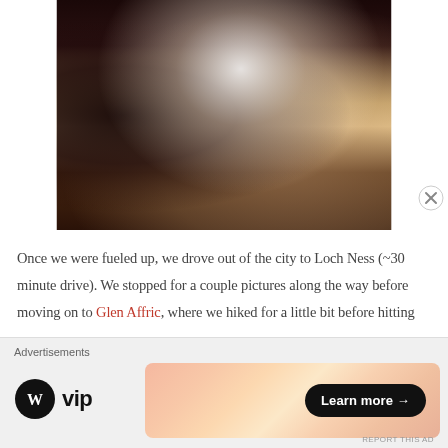[Figure (photo): A dark-haired woman leaning over a wooden table near a bright window, handling a jar or container. A coffee cup is visible on the table in a cafe setting. The image is high contrast with bright backlight from the window.]
Once we were fueled up, we drove out of the city to Loch Ness (~30 minute drive). We stopped for a couple pictures along the way before moving on to Glen Affric, where we hiked for a little bit before hitting
[Figure (other): Advertisement bar: WordPress VIP logo on left, and an orange/pink gradient banner ad with 'Learn more →' button on dark pill on right. Label says 'Advertisements' at top. 'REPORT THIS AD' text at bottom right.]